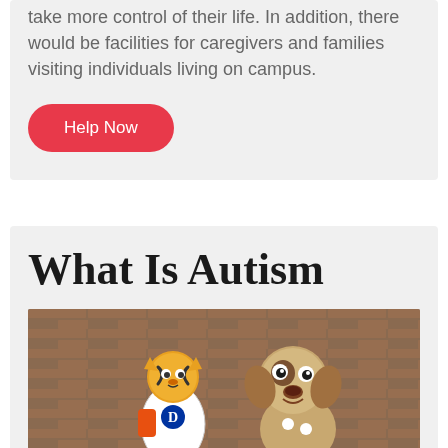take more control of their life. In addition, there would be facilities for caregivers and families visiting individuals living on campus.
Help Now
What Is Autism
[Figure (photo): Two mascot characters — a Detroit Tigers tiger mascot and a large dog mascot — posing together in front of a brick building.]